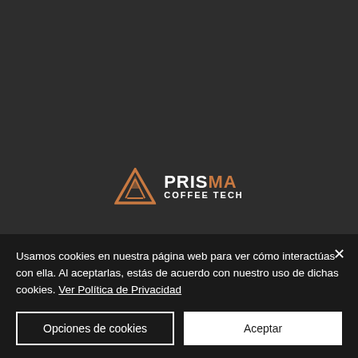[Figure (logo): Prisma Coffee Tech logo — triangle/mountain icon in copper/orange with 'PRISMA' in white and copper and 'COFFEE TECH' in white below, on dark gray background]
Usamos cookies en nuestra página web para ver cómo interactúas con ella. Al aceptarlas, estás de acuerdo con nuestro uso de dichas cookies. Ver Política de Privacidad
Opciones de cookies
Aceptar